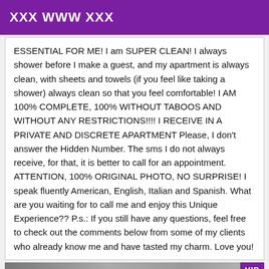XXX WWW XXX
ESSENTIAL FOR ME! I am SUPER CLEAN! I always shower before I make a guest, and my apartment is always clean, with sheets and towels (if you feel like taking a shower) always clean so that you feel comfortable! I AM 100% COMPLETE, 100% WITHOUT TABOOS AND WITHOUT ANY RESTRICTIONS!!!! I RECEIVE IN A PRIVATE AND DISCRETE APARTMENT Please, I don't answer the Hidden Number. The sms I do not always receive, for that, it is better to call for an appointment. ATTENTION, 100% ORIGINAL PHOTO, NO SURPRISE! I speak fluently American, English, Italian and Spanish. What are you waiting for to call me and enjoy this Unique Experience?? P.s.: If you still have any questions, feel free to check out the comments below from some of my clients who already know me and have tasted my charm. Love you!
[Figure (photo): Partial photo strip at the bottom with a VIP badge in the top-right corner]